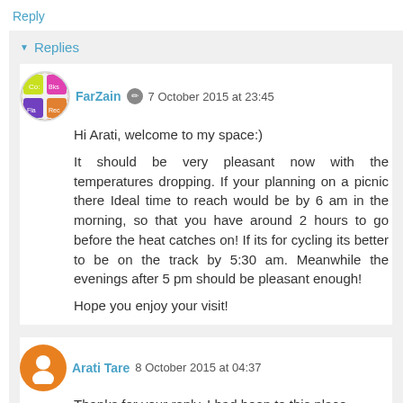Reply
▼ Replies
FarZain 🖊 7 October 2015 at 23:45
Hi Arati, welcome to my space:)

It should be very pleasant now with the temperatures dropping. If your planning on a picnic there Ideal time to reach would be by 6 am in the morning, so that you have around 2 hours to go before the heat catches on! If its for cycling its better to be on the track by 5:30 am. Meanwhile the evenings after 5 pm should be pleasant enough!

Hope you enjoy your visit!
Arati Tare 8 October 2015 at 04:37
Thanks for your reply. I had been to this place